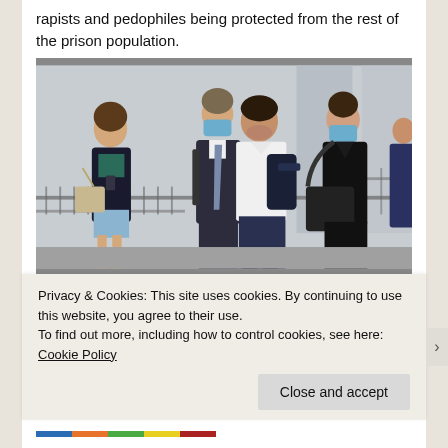rapists and pedophiles being protected from the rest of the prison population.
[Figure (photo): Four people walking outside a building near metal railings. Two of them are wearing blue surgical face masks. One man in a white shirt carries a dark jacket. A woman in black carries a large black handbag. Another woman in a dark blazer holds a phone. A man in a suit with a grey tie walks behind.]
Privacy & Cookies: This site uses cookies. By continuing to use this website, you agree to their use.
To find out more, including how to control cookies, see here: Cookie Policy
Close and accept